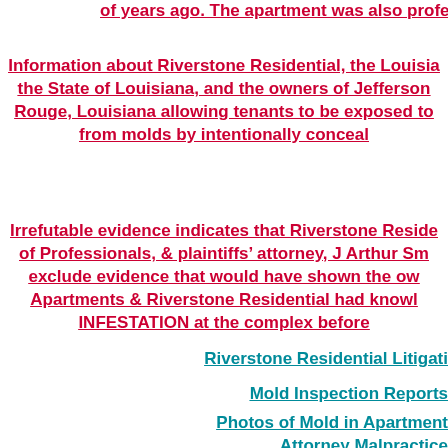of years ago. The apartment was also professionally tested. Katy
Information about Riverstone Residential, the Louisia... the State of Louisiana, and the owners of Jefferson... Rouge, Louisiana allowing tenants to be exposed to... from molds by intentionally conceal...
Irrefutable evidence indicates that Riverstone Reside... of Professionals, & plaintiffs’ attorney, J Arthur Sm... exclude evidence that would have shown the ow... Apartments & Riverstone Residential had knowl... INFESTATION at the complex before...
Riverstone Residential Litigati...
Mold Inspection Reports
Photos of Mold in Apartment...
Attorney Malpractice